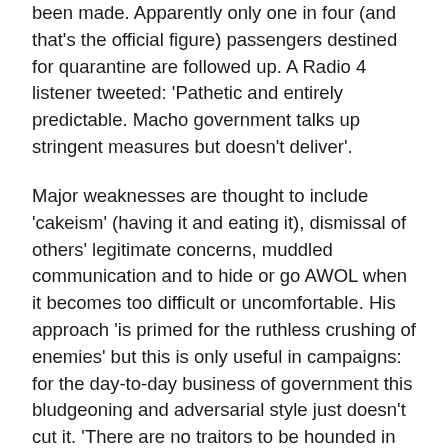been made. Apparently only one in four (and that's the official figure) passengers destined for quarantine are followed up. A Radio 4 listener tweeted: 'Pathetic and entirely predictable. Macho government talks up stringent measures but doesn't deliver'.
Major weaknesses are thought to include 'cakeism' (having it and eating it), dismissal of others' legitimate concerns, muddled communication and to hide or go AWOL when it becomes too difficult or uncomfortable. His approach 'is primed for the ruthless crushing of enemies' but this is only useful in campaigns: for the day-to-day business of government this bludgeoning and adversarial style just doesn't cut it. 'There are no traitors to be hounded in the battle against Covid-19'.
Other big news items this week, such as the Beirut